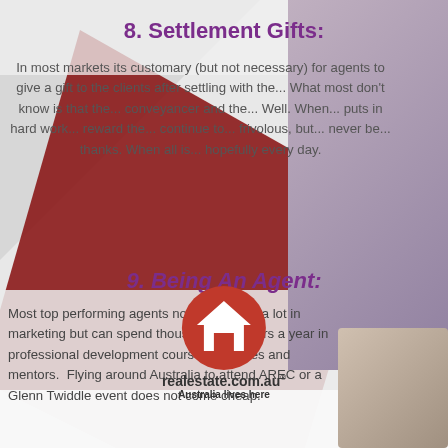8. Settlement Gifts:
In most markets its customary (but not necessary) for agents to give a gift to the clients after settling with the... What most don't know is that the... conveyancer and the... Well. When... puts in hard work... reward the... continue to... frivolous, but... never be... thanks. When all is... hopefully every day.
9. Being An Agent:
Most top performing agents not only spend a lot in marketing but can spend thousands of dollars a year in professional development courses, coaches and mentors.  Flying around Australia to attend AREC or a Glenn Twiddle event does not come cheap.
[Figure (logo): realestate.com.au logo with house icon and tagline 'Australia lives here']